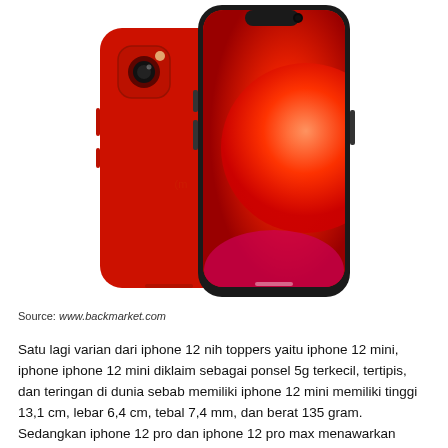[Figure (photo): Two red iPhone 12 mini smartphones shown from front and back, one displaying the red iOS wallpaper with a large circle gradient, the other showing the back with a camera bump and Apple logo area. Both are against a white background.]
Source: www.backmarket.com
Satu lagi varian dari iphone 12 nih toppers yaitu iphone 12 mini, iphone iphone 12 mini diklaim sebagai ponsel 5g terkecil, tertipis, dan teringan di dunia sebab memiliki iphone 12 mini memiliki tinggi 13,1 cm, lebar 6,4 cm, tebal 7,4 mm, dan berat 135 gram. Sedangkan iphone 12 pro dan iphone 12 pro max menawarkan kapasitas penyimpanan yang lebih besar, yakni hingga 512 gb.